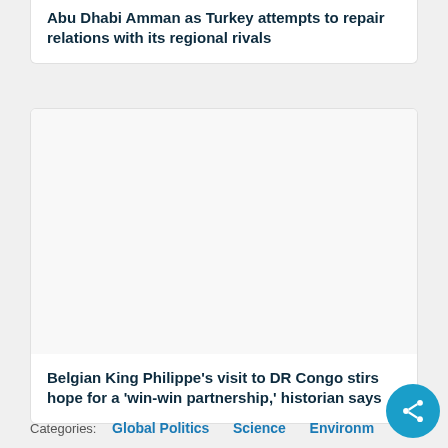Abu Dhabi Amman as Turkey attempts to repair relations with its regional rivals
[Figure (photo): Blank image placeholder for Belgian King Philippe DR Congo article]
Belgian King Philippe's visit to DR Congo stirs hope for a 'win-win partnership,' historian says
Categories:  Global Politics  Science  Environm...